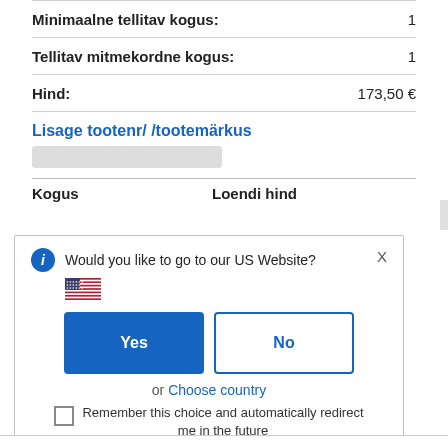|  |  |
| --- | --- |
| Minimaalne tellitav kogus: | 1 |
| Tellitav mitmekordne kogus: | 1 |
| Hind: | 173,50 € |
Lisage tootenr/ /tootemärkus
| Kogus | Loendi hind |
| --- | --- |
Would you like to go to our US Website?
or Choose country
Remember this choice and automatically redirect me in the future